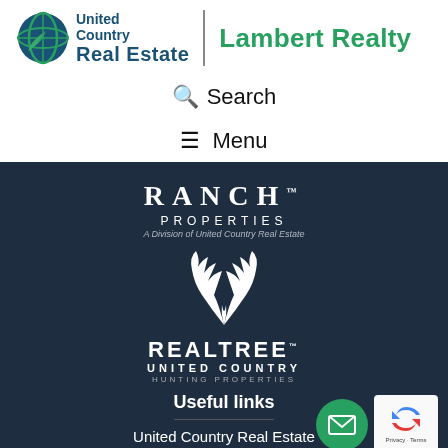[Figure (logo): United Country Real Estate logo with globe icon]
Lambert Realty
🔍 Search
☰ Menu
[Figure (logo): Ranch Properties - A Division of United Country Real Estate logo with antler icon]
[Figure (logo): Realtree United Country Hunting Properties logo]
Useful links
United Country Real Estate
[Figure (other): Email contact button (green circle with envelope icon)]
[Figure (other): reCAPTCHA widget with Privacy and Terms links]